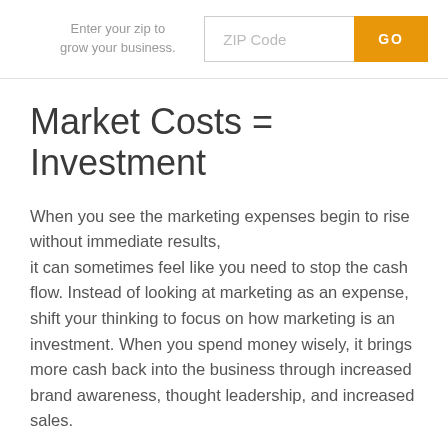Enter your zip to grow your business. ZIP Code GO
Market Costs = Investment
When you see the marketing expenses begin to rise without immediate results, it can sometimes feel like you need to stop the cash flow. Instead of looking at marketing as an expense, shift your thinking to focus on how marketing is an investment. When you spend money wisely, it brings more cash back into the business through increased brand awareness, thought leadership, and increased sales.
At the same time, you need to be sure that the marketing cost adds to your bottom line. The best